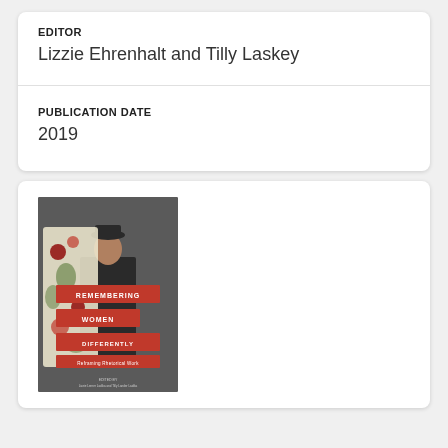EDITOR
Lizzie Ehrenhalt and Tilly Laskey
PUBLICATION DATE
2019
[Figure (photo): Book cover of 'Remembering Women Differently: Reframing Rhetorical Work', showing a black-and-white photo of a man in a suit and hat overlaid with a floral collage cutout and red title banner text.]